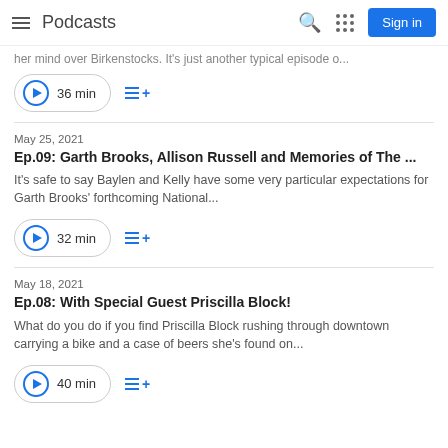Podcasts | Sign in
her mind over Birkenstocks. It's just another typical episode o...
36 min
May 25, 2021
Ep.09: Garth Brooks, Allison Russell and Memories of The ...
It's safe to say Baylen and Kelly have some very particular expectations for Garth Brooks' forthcoming National...
32 min
May 18, 2021
Ep.08: With Special Guest Priscilla Block!
What do you do if you find Priscilla Block rushing through downtown carrying a bike and a case of beers she's found on...
40 min